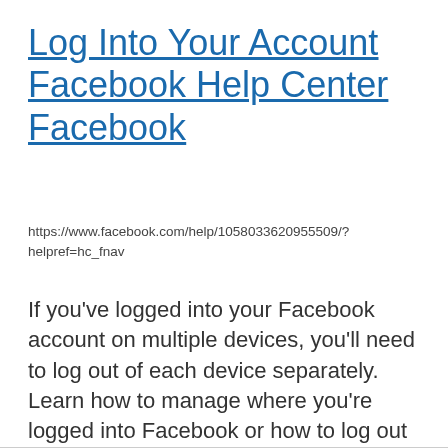Log Into Your Account Facebook Help Center Facebook
https://www.facebook.com/help/1058033620955509/?helpref=hc_fnav
If you've logged into your Facebook account on multiple devices, you'll need to log out of each device separately. Learn how to manage where you're logged into Facebook or how to log out of your mobile account from a computer.